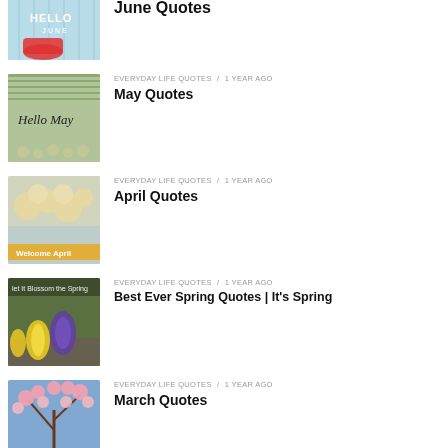June Quotes
EVERYDAY LIFE QUOTES / 1 year ago
May Quotes
EVERYDAY LIFE QUOTES / 1 year ago
April Quotes
EVERYDAY LIFE QUOTES / 1 year ago
Best Ever Spring Quotes | It's Spring
EVERYDAY LIFE QUOTES / 1 year ago
March Quotes